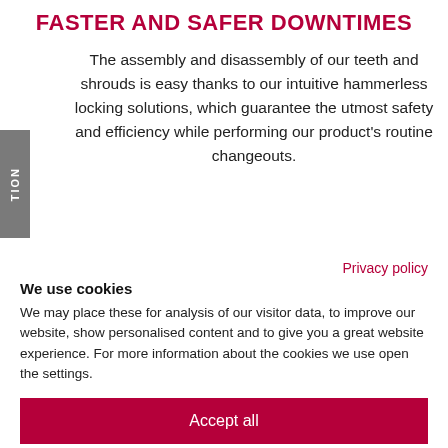FASTER AND SAFER DOWNTIMES
The assembly and disassembly of our teeth and shrouds is easy thanks to our intuitive hammerless locking solutions, which guarantee the utmost safety and efficiency while performing our product's routine changeouts.
Privacy policy
We use cookies
We may place these for analysis of our visitor data, to improve our website, show personalised content and to give you a great website experience. For more information about the cookies we use open the settings.
Accept all
Deny
No, adjust